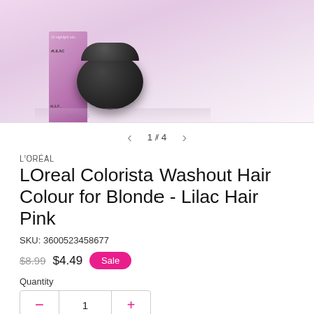[Figure (photo): Product photo showing a black jar and pink/lilac colored box packaging of LOreal Colorista hair colour product, with partial text #LILAC visible]
1 / 4
L'ORÉAL
LOreal Colorista Washout Hair Colour for Blonde - Lilac Hair Pink
SKU: 3600523458677
$8.99  $4.49  Sale
Quantity
1